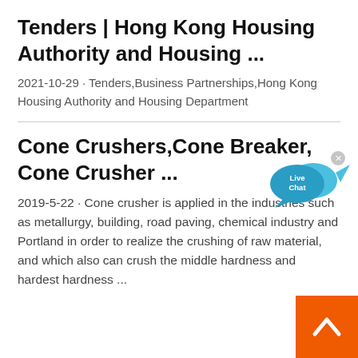Tenders | Hong Kong Housing Authority and Housing ...
2021-10-29 · Tenders,Business Partnerships,Hong Kong Housing Authority and Housing Department
Cone Crushers,Cone Breaker, Cone Crusher ...
2019-5-22 · Cone crusher is applied in the industries such as metallurgy, building, road paving, chemical industry and Portland in order to realize the crushing of raw material, and which also can crush the middle hardness and hardest hardness ...